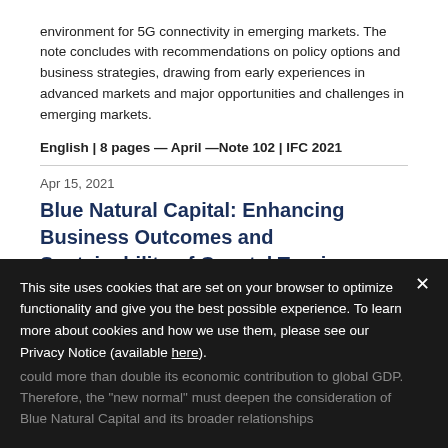environment for 5G connectivity in emerging markets. The note concludes with recommendations on policy options and business strategies, drawing from early experiences in advanced markets and major opportunities and challenges in emerging markets.
English | 8 pages — April —Note 102 | IFC 2021
Apr 15, 2021
Blue Natural Capital: Enhancing Business Outcomes and Sustainability of Coastal Tourism Markets
The COVID-19 pandemic hit the tourism industry particularly hard, affecting livelihoods and exacerbating some pressures on the natural capital resource base. Supporting the tourism sector... capital on the Blue Economy could more than double its economic contribution to global GDP. Therefore, the "new normal" must deepen the consideration of Blue Natural Capital and its broader relationships...
This site uses cookies that are set on your browser to optimize functionality and give you the best possible experience. To learn more about cookies and how we use them, please see our Privacy Notice (available here).